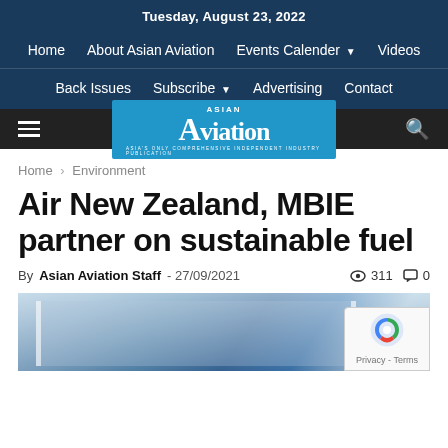Tuesday, August 23, 2022
Home  About Asian Aviation  Events Calender  Videos
Back Issues  Subscribe  Advertising  Contact
[Figure (logo): Asian Aviation magazine logo on blue background with tagline: ASIA'S ONLY COMPREHENSIVE INDEPENDENT INDUSTRY PUBLICATION]
Home › Environment
Air New Zealand, MBIE partner on sustainable fuel
By Asian Aviation Staff - 27/09/2021  ● 311  🗨 0
[Figure (photo): Photo of a building with glass facade and sky in background]